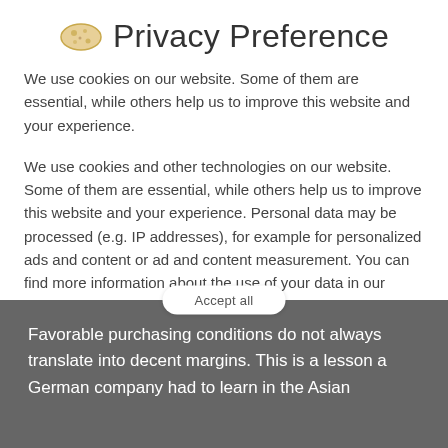Privacy Preference
We use cookies on our website. Some of them are essential, while others help us to improve this website and your experience.
We use cookies and other technologies on our website. Some of them are essential, while others help us to improve this website and your experience. Personal data may be processed (e.g. IP addresses), for example for personalized ads and content or ad and content measurement. You can find more information about the use of your data in our privacy policy. You can revoke or adjust your selection at any time under Settings.
Essential
External Media
Favorable purchasing conditions do not always translate into decent margins. This is a lesson a German company had to learn in the Asian